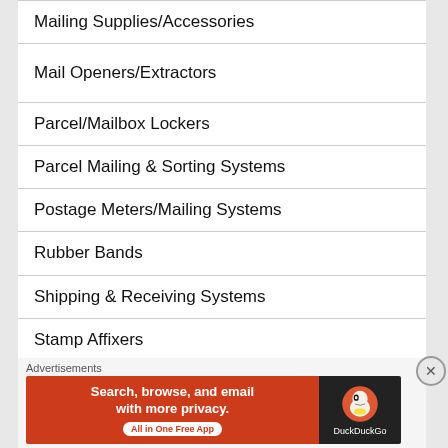Mailing Supplies/Accessories
Mail Openers/Extractors
Parcel/Mailbox Lockers
Parcel Mailing & Sorting Systems
Postage Meters/Mailing Systems
Rubber Bands
Shipping & Receiving Systems
Stamp Affixers
Tabbing Systems
Advertisements
[Figure (infographic): DuckDuckGo advertisement banner: orange left side with text 'Search, browse, and email with more privacy. All in One Free App' and dark right side with DuckDuckGo duck logo]